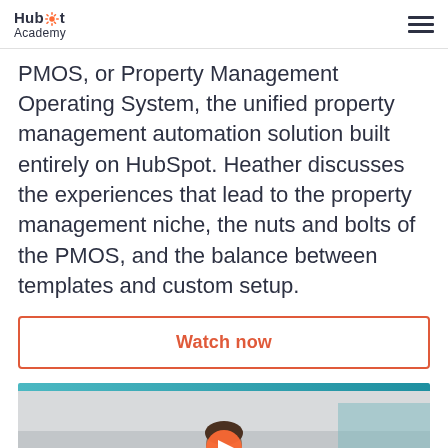HubSpot Academy
PMOS, or Property Management Operating System, the unified property management automation solution built entirely on HubSpot. Heather discusses the experiences that lead to the property management niche, the nuts and bolts of the PMOS, and the balance between templates and custom setup.
Watch now
[Figure (photo): Video thumbnail showing a person from shoulders up with a teal/blue header bar at the top and an orange play button overlay]